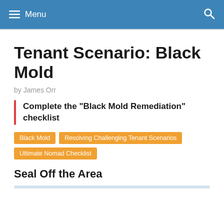Menu
Tenant Scenario: Black Mold
by James Orr
Complete the "Black Mold Remediation" checklist
Black Mold
Resolving Challenging Tenant Scenarios
Ultimate Nomad Checklist
Seal Off the Area